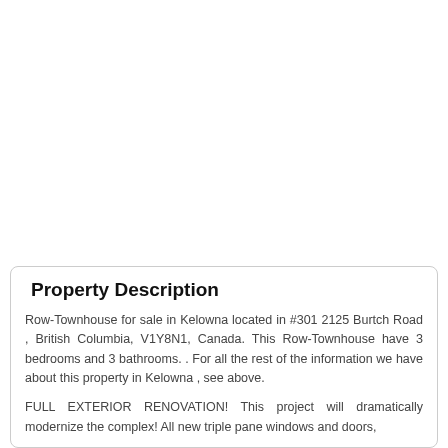Property Description
Row-Townhouse for sale in Kelowna located in #301 2125 Burtch Road , British Columbia, V1Y8N1, Canada. This Row-Townhouse have 3 bedrooms and 3 bathrooms. . For all the rest of the information we have about this property in Kelowna , see above.
FULL EXTERIOR RENOVATION! This project will dramatically modernize the complex! All new triple pane windows and doors,